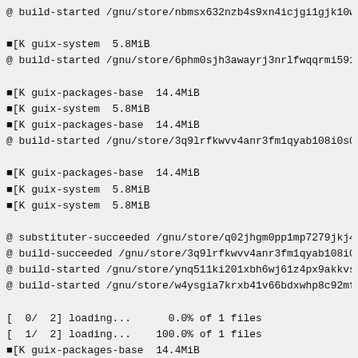@ build-started /gnu/store/nbmsx632nzb4s9xn4icjgi1gjk10w
■[K guix-system  5.8MiB
@ build-started /gnu/store/6phm0sjh3awayrj3nrlfwqqrmi591
■[K guix-packages-base  14.4MiB
■[K guix-system  5.8MiB
■[K guix-packages-base  14.4MiB
@ build-started /gnu/store/3q9lrfkwvv4anr3fm1qyab108i0s0
■[K guix-packages-base  14.4MiB
■[K guix-system  5.8MiB
■[K guix-system  5.8MiB
@ substituter-succeeded /gnu/store/q02jhgm0pp1mp7279jkj4
@ build-succeeded /gnu/store/3q9lrfkwvv4anr3fm1qyab108i0
@ build-started /gnu/store/ynq511ki201xbh6wj61z4px9akkvs
@ build-started /gnu/store/w4ysgia7krxb41v66bdxwhp8c92mf
[  0/  2] loading...      0.0% of 1 files
[  1/  2] loading...    100.0% of 1 files
■[K guix-packages-base  14.4MiB
[  1/  2] compiling...    0.0% of 1 files@ build-succeed
@ build-started /gnu/store/1pxc59miki8j084wls128l34prw1q
@ build-succeeded /gnu/store/1mxc59miki8j084wls128134prw